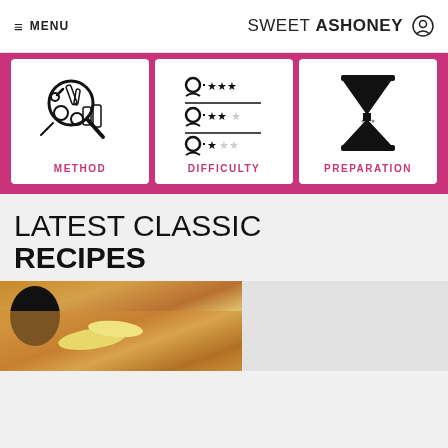≡ MENU   SWEETASHONEY 🔘
[Figure (infographic): Three white cards on pink background. Left card: cooking/method icon (magnifying glass, utensils). Center card: difficulty rating icon (person with stars). Right card: preparation/hourglass icon.]
METHOD
DIFFICULTY
PREPARATION
LATEST CLASSIC
RECIPES
[Figure (photo): Food photo showing pancakes or French toast with banana slices and a dark round object, warm golden tones.]
[Figure (photo): Light grey placeholder / second recipe photo area.]